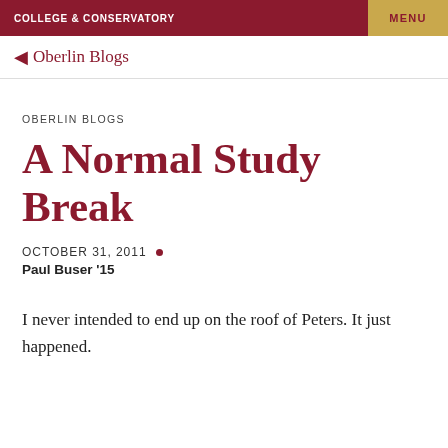COLLEGE & CONSERVATORY | MENU
← Oberlin Blogs
OBERLIN BLOGS
A Normal Study Break
OCTOBER 31, 2011 •
Paul Buser '15
I never intended to end up on the roof of Peters. It just happened.